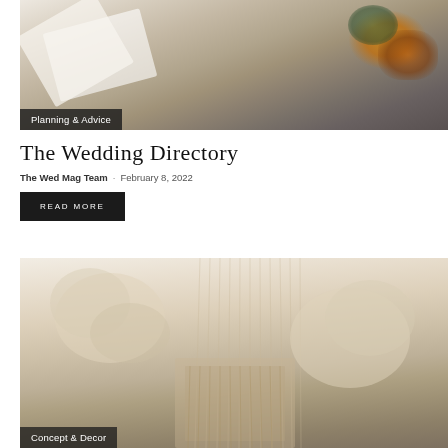[Figure (photo): Top-down view of wedding confetti/dried flowers in white paper cones with ribbon, and an envelope with text visible]
Planning & Advice
The Wedding Directory
The Wed Mag Team · February 8, 2022
READ MORE
[Figure (photo): Boho wedding decor featuring macrame wall hangings and dried pampas grass in warm neutral tones]
Concept & Decor